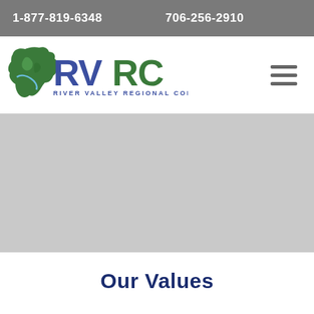1-877-819-6348    706-256-2910
[Figure (logo): RVRC River Valley Regional Commission logo with green Georgia map shape and blue/green RVRC lettering]
[Figure (other): Hamburger menu icon (three horizontal lines)]
[Figure (photo): Large light gray hero image placeholder area]
Our Values